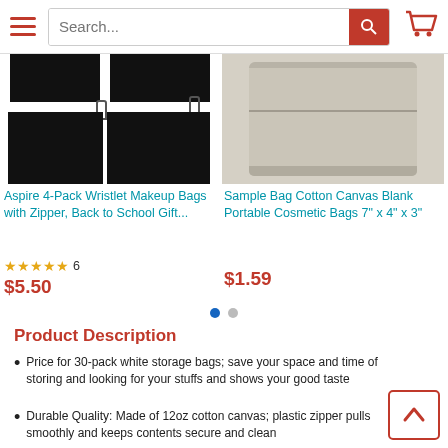[Figure (screenshot): Website navigation bar with hamburger menu, search bar, and cart icon]
[Figure (photo): Aspire 4-Pack Wristlet Makeup Bags - black bags product image]
Aspire 4-Pack Wristlet Makeup Bags with Zipper, Back to School Gift...
★★★★★ 6
$5.50
[Figure (photo): Sample Bag Cotton Canvas beige/gray portable cosmetic bag product image]
Sample Bag Cotton Canvas Blank Portable Cosmetic Bags 7" x 4" x 3"
$1.59
Product Description
Price for 30-pack white storage bags; save your space and time of storing and looking for your stuffs and shows your good taste
Durable Quality: Made of 12oz cotton canvas; plastic zipper pulls smoothly and keeps contents secure and clean